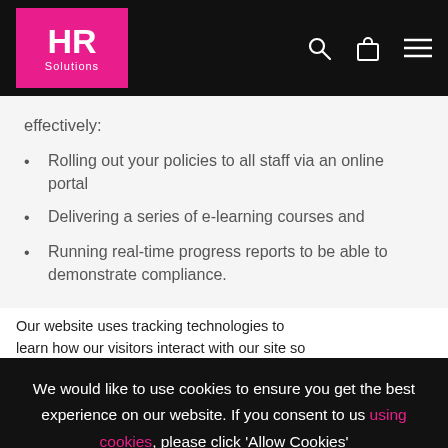[Figure (logo): HR Solutions logo — pink square with white 'HR' in large bold text and 'Solutions' below in smaller text]
effectively:
Rolling out your policies to all staff via an online portal
Delivering a series of e-learning courses and
Running real-time progress reports to be able to demonstrate compliance.
Our website uses tracking technologies to learn how our visitors interact with our site so
We would like to use cookies to ensure you get the best experience on our website. If you consent to us using cookies, please click 'Allow Cookies'
Allow Cookies